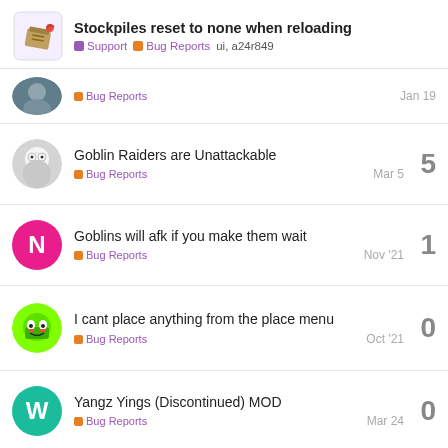Stockpiles reset to none when reloading — Support | Bug Reports | ui, a24r849
Bug Reports — Jan 19 — (replies cut off)
Goblin Raiders are Unattackable — Bug Reports — Mar 5 — 5 replies
Goblins will afk if you make them wait — Bug Reports — Nov '21 — 1 reply
I cant place anything from the place menu — Bug Reports — Oct '21 — 0 replies
Yangz Yings (Discontinued) MOD — Bug Reports — Mar 24 — 0 replies
Want to read more? Browse other topics in Bug Reports or view latest topics.